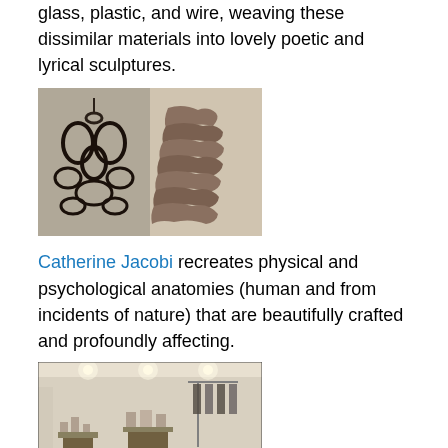glass, plastic, and wire, weaving these dissimilar materials into lovely poetic and lyrical sculptures.
[Figure (photo): Two dark metal/iron sculptures - one appears to be an abstract hanging piece with circular rings, the other shows hands or organic forms stacked]
Catherine Jacobi recreates physical and psychological anatomies (human and from incidents of nature) that are beautifully crafted and profoundly affecting.
[Figure (photo): Interior of the Robin Richman boutique showing a shop floor with displays, lighting, and merchandise]
Robin Richman, designer, artist, collector of objects, and proprietor of the Robin Richman boutique. Robin mixes the exotic and curious with a truly extraordinary vision.